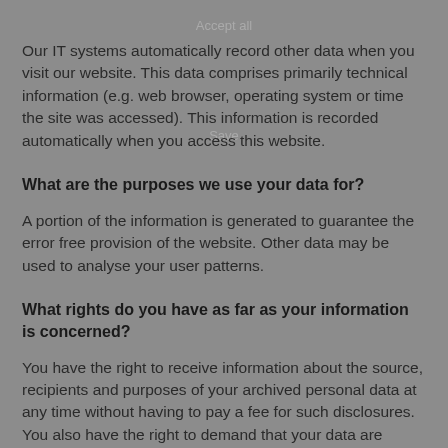Accept all
Save
Our IT systems automatically record other data when you visit our website. This data comprises primarily technical information (e.g. web browser, operating system or time the site was accessed). This information is recorded automatically when you access this website.
What are the purposes we use your data for?
A portion of the information is generated to guarantee the error free provision of the website. Other data may be used to analyse your user patterns.
What rights do you have as far as your information is concerned?
You have the right to receive information about the source, recipients and purposes of your archived personal data at any time without having to pay a fee for such disclosures. You also have the right to demand that your data are